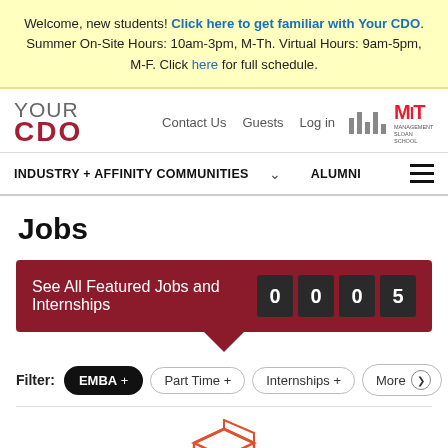Welcome, new students! Click here to get familiar with Your CDO. Summer On-Site Hours: 10am-3pm, M-Th. Virtual Hours: 9am-5pm, M-F. Click here for full schedule.
[Figure (logo): YOUR CDO site logo with MIT Sloan Management School logos]
INDUSTRY + AFFINITY COMMUNITIES  ALUMNI
Jobs
See All Featured Jobs and Internships 0 0 0 5
Filter: EMBA +   Part Time +   Internships +   More >
[Figure (illustration): Orange open box / briefcase icon at the bottom of the page]